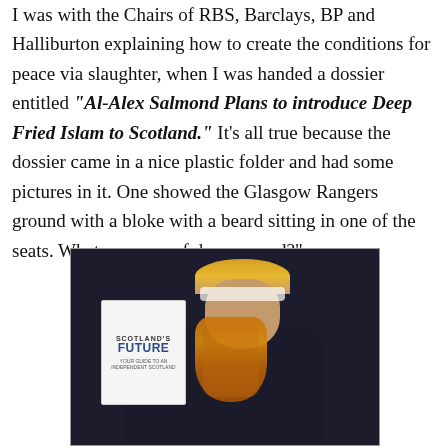I was with the Chairs of RBS, Barclays, BP and Halliburton explaining how to create the conditions for peace via slaughter, when I was handed a dossier entitled "Al-Alex Salmond Plans to introduce Deep Fried Islam to Scotland." It's all true because the dossier came in a nice plastic folder and had some pictures in it. One showed the Glasgow Rangers ground with a bloke with a beard sitting in one of the seats. What more proof do you need?"
[Figure (photo): Satirical/manipulated photo of a man (resembling Alex Salmond) in a dark suit, holding a white book titled 'Scotland's Future', with an orange beard overlaid on his face and what appears to be a white headband/turban on his head.]